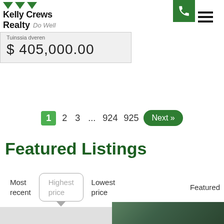[Figure (logo): Kelly Crews Realty logo with green downward triangles and 'Do Well' italic tagline]
[Figure (other): Green phone button icon in top right]
[Figure (other): Hamburger menu icon (three horizontal lines) in top right]
$ 405,000.00
1  2  3  ...  924  925  Next »
Featured Listings
Most recent
Highest price
Lowest price
Featured